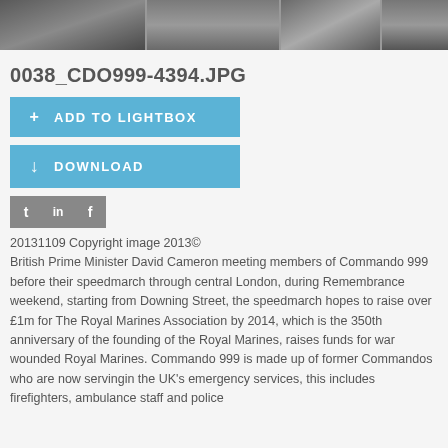[Figure (photo): Partial view of people in uniforms with flags/regalia, photo strip at top of page]
0038_CDO999-4394.JPG
ADD TO LIGHTBOX
DOWNLOAD
[Figure (other): Social media icons: Twitter (t), LinkedIn (in), Facebook (f)]
20131109 Copyright image 2013© British Prime Minister David Cameron meeting members of Commando 999 before their speedmarch through central London, during Remembrance weekend, starting from Downing Street, the speedmarch hopes to raise over £1m for The Royal Marines Association by 2014, which is the 350th anniversary of the founding of the Royal Marines, raises funds for war wounded Royal Marines. Commando 999 is made up of former Commandos who are now servingin the UK's emergency services, this includes firefighters, ambulance staff and police